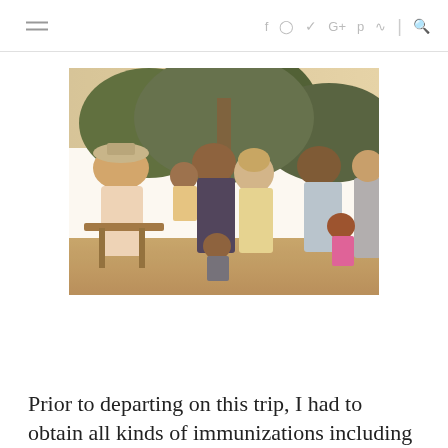≡ f ⓘ 𝕩 G+ 𝒫 ⌂ | 🔍
[Figure (photo): Vintage photograph showing a crowd of people, mostly African women and children, gathered outdoors near trees. There is also a person with red/blonde hair visible in the center, and a man in a gray shirt on the right. The image has warm, faded 1970s-80s film photography tones.]
Prior to departing on this trip, I had to obtain all kinds of immunizations including